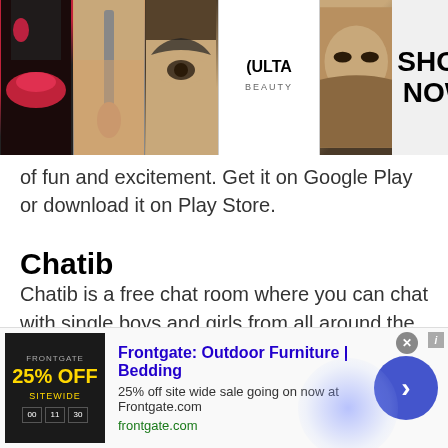[Figure (photo): ULTA Beauty advertisement banner with makeup photos (lips, brush, eye) and SHOP NOW text]
of fun and excitement. Get it on Google Play or download it on Play Store.
Chatib
Chatib is a free chat room where you can chat with single boys and girls from all around the world. Meet new people and make them your friends. No download or registration is needed. Meet single men and women and make them your friends. You can chat, flirt, date, or do whatever you want.
[Figure (photo): Frontgate: Outdoor Furniture | Bedding advertisement banner. 25% off site wide sale going on now at Frontgate.com. frontgate.com]